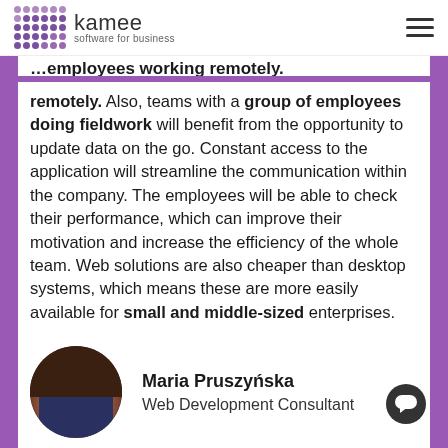kamee software for business
remotely. Also, teams with a group of employees doing fieldwork will benefit from the opportunity to update data on the go. Constant access to the application will streamline the communication within the company. The employees will be able to check their performance, which can improve their motivation and increase the efficiency of the whole team. Web solutions are also cheaper than desktop systems, which means these are more easily available for small and middle-sized enterprises.
[Figure (photo): Circular portrait photo of Maria Pruszyńska]
Maria Pruszyńska
Web Development Consultant
More articles:
Will a bespoke application improve my efficiency?
Dedicated CRM system